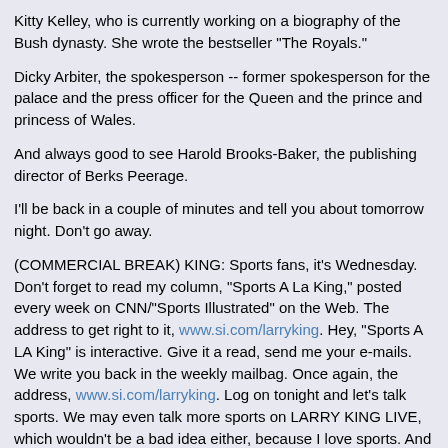Kitty Kelley, who is currently working on a biography of the Bush dynasty. She wrote the bestseller "The Royals."
Dicky Arbiter, the spokesperson -- former spokesperson for the palace and the press officer for the Queen and the prince and princess of Wales.
And always good to see Harold Brooks-Baker, the publishing director of Berks Peerage.
I&#39;ll be back in a couple of minutes and tell you about tomorrow night. Don&#39;t go away.
(COMMERCIAL BREAK) KING: Sports fans, it&#39;s Wednesday. Don&#39;t forget to read my column, "Sports A La King," posted every week on CNN/"Sports Illustrated" on the Web. The address to get right to it, www.si.com/larryking. Hey, "Sports A LA King" is interactive. Give it a read, send me your e-mails. We write you back in the weekly mailbag. Once again, the address, www.si.com/larryking. Log on tonight and let&#39;s talk sports. We may even talk more sports on LARRY KING LIVE, which wouldn&#39;t be a bad idea either, because I love sports. And I hope you enjoy that column, by the way.
Tomorrow night, the Scott Peterson case. There&#39;s a big hearing tomorrow. We&#39;ll look into it tomorrow night.
TO ORDER A VIDEO OF THIS TRANSCRIPT, PLEASE CALL 800-CNN-